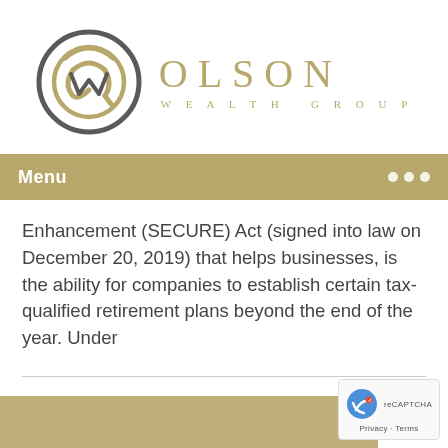[Figure (logo): Olson Wealth Group logo with circular OW emblem in gold and gray, and the text OLSON WEALTH GROUP in gold spaced lettering]
Menu
Enhancement (SECURE) Act (signed into law on December 20, 2019) that helps businesses, is the ability for companies to establish certain tax-qualified retirement plans beyond the end of the year. Under